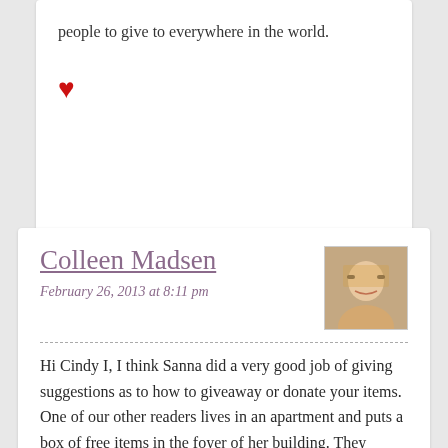people to give to everywhere in the world.
[Figure (illustration): Red heart emoji/icon]
Colleen Madsen
February 26, 2013 at 8:11 pm
[Figure (photo): Avatar photo of Colleen Madsen, a woman with blonde hair and glasses, smiling]
Hi Cindy I, I think Sanna did a very good job of giving suggestions as to how to giveaway or donate your items. One of our other readers lives in an apartment and puts a box of free items in the foyer of her building. They usually are taken. I have done this with larger items that I put out on the curb in front of my house. Is there a secondhand store in your town or a pawn shop? There is also a page at my blog with